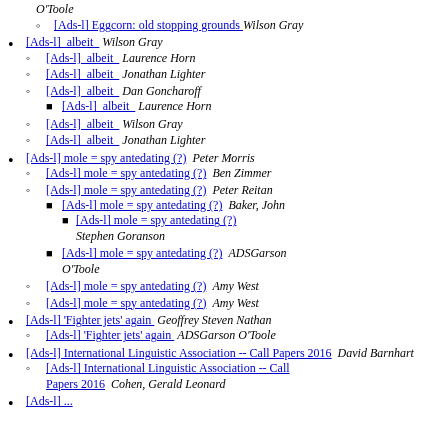[Ads-l] Eggcorn: old stopping grounds  Wilson Gray
[Ads-l]  albeit   Wilson Gray
[Ads-l]  albeit   Laurence Horn
[Ads-l]  albeit   Jonathan Lighter
[Ads-l]  albeit   Dan Goncharoff
[Ads-l]  albeit   Laurence Horn
[Ads-l]  albeit   Wilson Gray
[Ads-l]  albeit   Jonathan Lighter
[Ads-l] mole = spy antedating (?)   Peter Morris
[Ads-l] mole = spy antedating (?)   Ben Zimmer
[Ads-l] mole = spy antedating (?)   Peter Reitan
[Ads-l] mole = spy antedating (?)   Baker, John
[Ads-l] mole = spy antedating (?)   Stephen Goranson
[Ads-l] mole = spy antedating (?)   ADSGarson O'Toole
[Ads-l] mole = spy antedating (?)   Amy West
[Ads-l] mole = spy antedating (?)   Amy West
[Ads-l] 'Fighter jets' again   Geoffrey Steven Nathan
[Ads-l] 'Fighter jets' again   ADSGarson O'Toole
[Ads-l] International Linguistic Association -- Call Papers 2016  David Barnhart
[Ads-l] International Linguistic Association -- Call Papers 2016  Cohen, Gerald Leonard